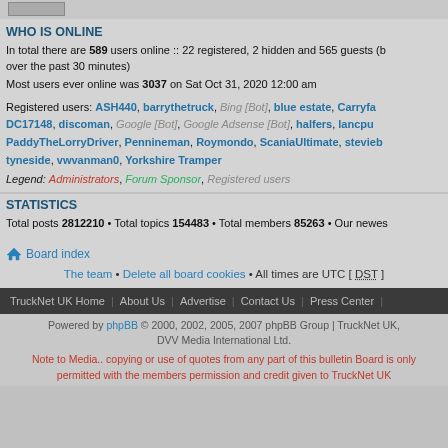WHO IS ONLINE
In total there are 589 users online :: 22 registered, 2 hidden and 565 guests (based on users active over the past 30 minutes)
Most users ever online was 3037 on Sat Oct 31, 2020 12:00 am
Registered users: ASH440, barrythetruck, Bing [Bot], blue estate, Carryfast, DC17148, discoman, Google [Bot], Google Adsense [Bot], halfers, lancpu, PaddyTheLorryDriver, Pennineman, Roymondo, ScaniaUltimate, stevieb, tyneside, vwvanman0, Yorkshire Tramper
Legend: Administrators, Forum Sponsor, Registered users
STATISTICS
Total posts 2812210 • Total topics 154483 • Total members 85263 • Our newest member
Board index
The team • Delete all board cookies • All times are UTC [ DST ]
TruckNet UK Home | About Us | Advertise | Contact Us | Press Center |
Powered by phpBB © 2000, 2002, 2005, 2007 phpBB Group | TruckNet UK, DVV Media International Ltd.
Note to Media.. copying or use of quotes from any part of this bulletin Board is only permitted with the members permission and credit given to TruckNet UK